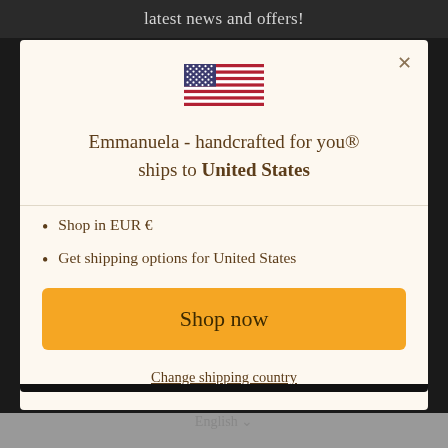latest news and offers!
[Figure (illustration): US flag icon]
Emmanuela - handcrafted for you® ships to United States
Shop in EUR €
Get shipping options for United States
Shop now
Change shipping country
English ∨